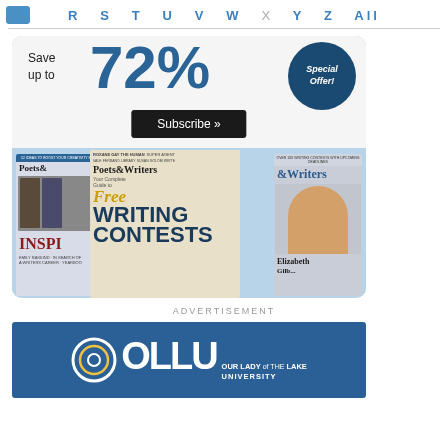R S T U V W X Y Z All
[Figure (illustration): Poets & Writers magazine subscription advertisement showing 'Save up to 72% Special Offer! Subscribe »' with magazine covers featuring Poets & Writers publications and Free Writing Contests issue, Elizabeth Gilbert visible on right cover]
ADVERTISEMENT
[Figure (logo): Our Lady of the Lake University (OLLU) advertisement - blue background with circular OLLU logo and text 'OUR LADY OF THE LAKE UNIVERSITY']